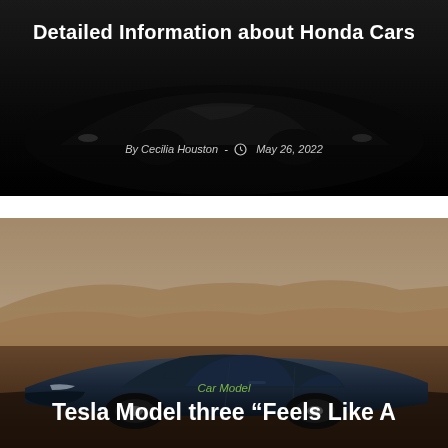[Figure (photo): Dark hero banner image showing a car silhouette on black background with title overlay]
Detailed Information about Honda Cars
By Cecilia Houston - ⏰ May 26, 2022
[Figure (photo): Blue Tesla Model 3 sedan photographed against a hazy desert/mountain landscape at dusk]
Car Model
Tesla Model three “Feels Like A